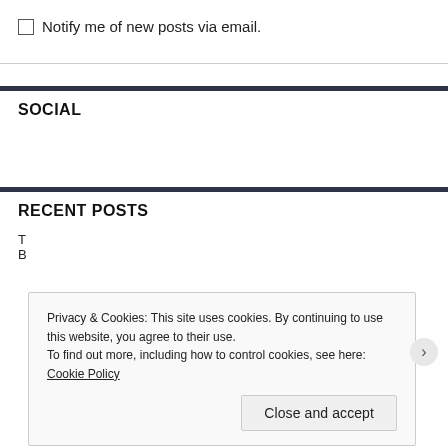Notify me of new posts via email.
SOCIAL
RECENT POSTS
Privacy & Cookies: This site uses cookies. By continuing to use this website, you agree to their use.
To find out more, including how to control cookies, see here: Cookie Policy
Close and accept